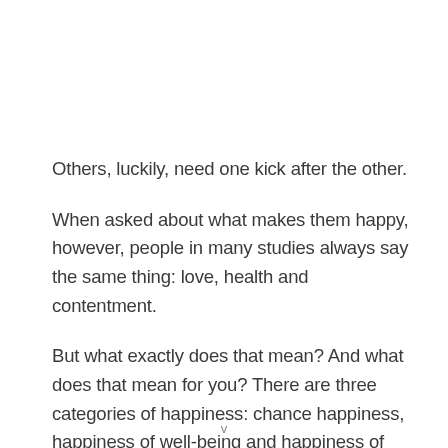Others, luckily, need one kick after the other.
When asked about what makes them happy, however, people in many studies always say the same thing: love, health and contentment.
But what exactly does that mean? And what does that mean for you? There are three categories of happiness: chance happiness, happiness of well-being and happiness of abundance.